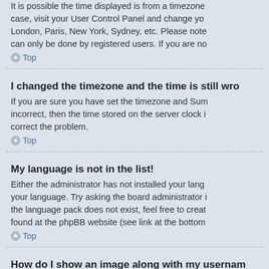It is possible the time displayed is from a timezone case, visit your User Control Panel and change yo London, Paris, New York, Sydney, etc. Please note can only be done by registered users. If you are no
Top
I changed the timezone and the time is still wro
If you are sure you have set the timezone and Sum incorrect, then the time stored on the server clock i correct the problem.
Top
My language is not in the list!
Either the administrator has not installed your lang your language. Try asking the board administrator i the language pack does not exist, feel free to creat found at the phpBB website (see link at the bottom
Top
How do I show an image along with my usernam
There are two images which may appear along with may be an image associated with your rank, gene